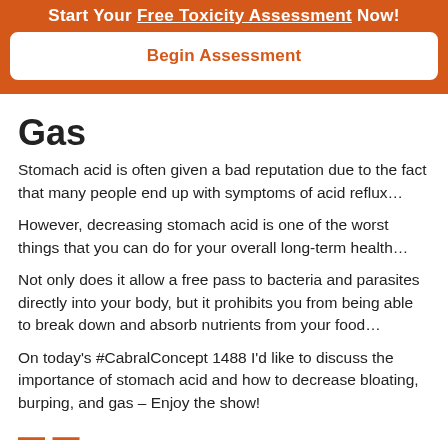Start Your Free Toxicity Assessment Now!
[Figure (other): Begin Assessment button on orange banner background]
Gas
Stomach acid is often given a bad reputation due to the fact that many people end up with symptoms of acid reflux…
However, decreasing stomach acid is one of the worst things that you can do for your overall long-term health…
Not only does it allow a free pass to bacteria and parasites directly into your body, but it prohibits you from being able to break down and absorb nutrients from your food…
On today's #CabralConcept 1488 I'd like to discuss the importance of stomach acid and how to decrease bloating, burping, and gas – Enjoy the show!